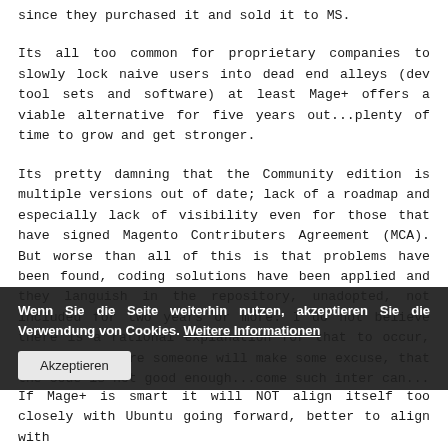since they purchased it and sold it to MS.
Its all too common for proprietary companies to slowly lock naive users into dead end alleys (dev tool sets and software) at least Mage+ offers a viable alternative for five years out...plenty of time to grow and get stronger.
Its pretty damning that the Community edition is multiple versions out of date; lack of a roadmap and especially lack of visibility even for those that have signed Magento Contributers Agreement (MCA). But worse than all of this is that problems have been found, coding solutions have been applied and they languish in the repository, unadopted, not included for two years or more. I do not believe there is a rational explanation for that to occur, though I am sure someone will make some excuse, that the code is not good enough...come such inter can...
If Mage+ is smart it will NOT align itself too closely with Ubuntu going forward, better to align with